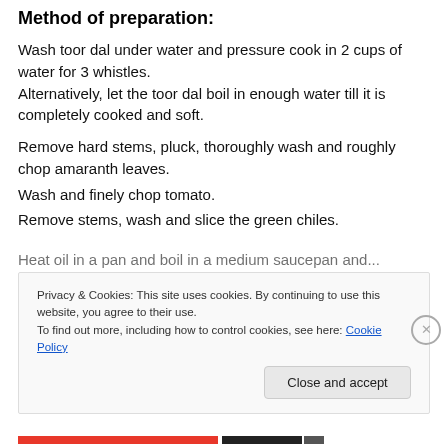Method of preparation:
Wash toor dal under water and pressure cook in 2 cups of water for 3 whistles. Alternatively, let the toor dal boil in enough water till it is completely cooked and soft.
Remove hard stems, pluck, thoroughly wash and roughly chop amaranth leaves.
Wash and finely chop tomato.
Remove stems, wash and slice the green chiles.
Heat oil in a pan and boil in a medium saucepan and...
Privacy & Cookies: This site uses cookies. By continuing to use this website, you agree to their use.
To find out more, including how to control cookies, see here: Cookie Policy